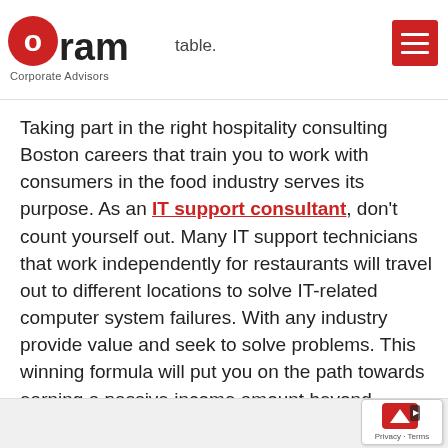Oram Corporate Advisors
Taking part in the right hospitality consulting Boston careers that train you to work with consumers in the food industry serves its purpose. As an IT support consultant, don't count yourself out. Many IT support technicians that work independently for restaurants will travel out to different locations to solve IT-related computer system failures. With any industry provide value and seek to solve problems. This winning formula will put you on the path towards earning a passive income amount beyond expectations.